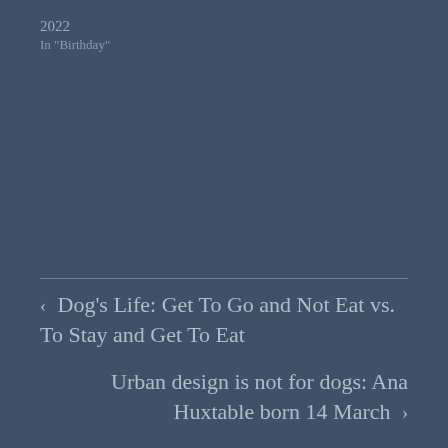2022
In "Birthday"
‹  Dog's Life: Get To Go and Not Eat vs. To Stay and Get To Eat
Urban design is not for dogs: Ana Huxtable born 14 March  ›